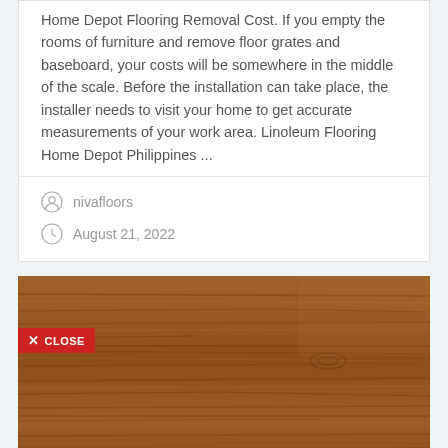Home Depot Flooring Removal Cost. If you empty the rooms of furniture and remove floor grates and baseboard, your costs will be somewhere in the middle of the scale. Before the installation can take place, the installer needs to visit your home to get accurate measurements of your work area. Linoleum Flooring Home Depot Philippines ...
nivafloors
August 21, 2022
[Figure (photo): Wood flooring texture photo showing brown wood grain planks, with a red CLOSE button overlay in the lower-left area of the image.]